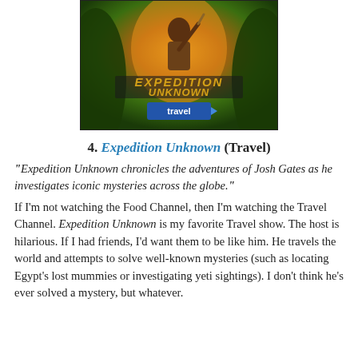[Figure (photo): Promotional image for Expedition Unknown TV show on Travel Channel, showing a man in jungle setting with the show title logo and Travel Channel branding]
4. Expedition Unknown (Travel)
“Expedition Unknown chronicles the adventures of Josh Gates as he investigates iconic mysteries across the globe.”
If I’m not watching the Food Channel, then I’m watching the Travel Channel. Expedition Unknown is my favorite Travel show. The host is hilarious. If I had friends, I’d want them to be like him. He travels the world and attempts to solve well-known mysteries (such as locating Egypt’s lost mummies or investigating yeti sightings). I don’t think he’s ever solved a mystery, but whatever.